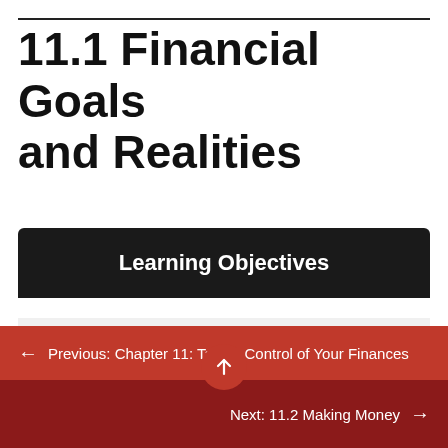11.1 Financial Goals and Realities
Learning Objectives
Set your financial goals to match your realities.
Establish financial priorities appropriate for
← Previous: Chapter 11: Taking Control of Your Finances
Next: 11.2 Making Money →